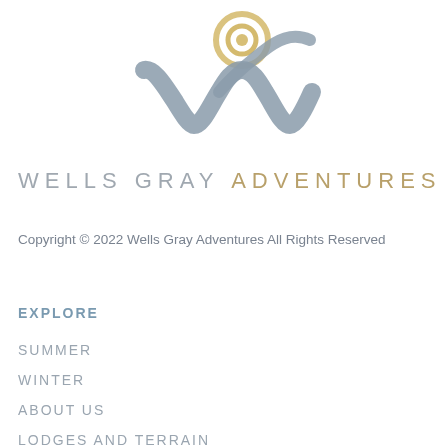[Figure (logo): Wells Gray Adventures logo: a stylized blue-gray W shape with a golden spiral circle above it]
WELLS GRAY ADVENTURES
Copyright © 2022 Wells Gray Adventures All Rights Reserved
EXPLORE
SUMMER
WINTER
ABOUT US
LODGES AND TERRAIN